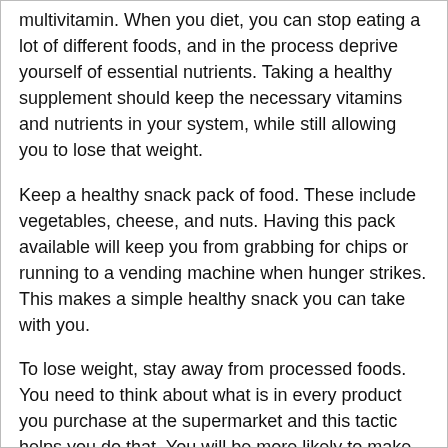multivitamin. When you diet, you can stop eating a lot of different foods, and in the process deprive yourself of essential nutrients. Taking a healthy supplement should keep the necessary vitamins and nutrients in your system, while still allowing you to lose that weight.
Keep a healthy snack pack of food. These include vegetables, cheese, and nuts. Having this pack available will keep you from grabbing for chips or running to a vending machine when hunger strikes. This makes a simple healthy snack you can take with you.
To lose weight, stay away from processed foods. You need to think about what is in every product you purchase at the supermarket and this tactic helps you do that. You will be more likely to make healthy food choices.
Do not keep bigger clothes when you have lost the weight. Letting these go will enable you to be motivated and it will force you to stick to your diet. When your clothes get tighter, you can take the proper steps to prevent more weight gain, especially when there are no larger clothes to fall back on.